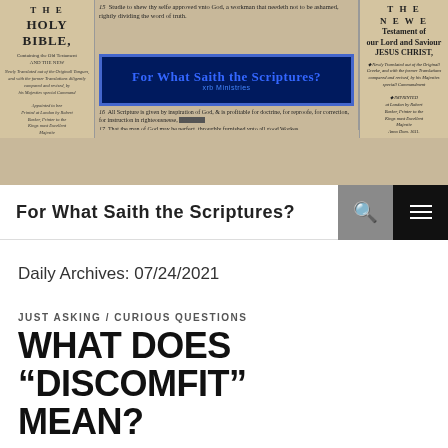[Figure (screenshot): Website header banner showing an old Bible page background with text from 2 Timothy 2:15 and 3:16-17, a blue decorative banner reading 'For What Saith the Scriptures? xrb Ministries' in Gothic script, flanked by images of 'The Holy Bible' and 'The New Testament of our Lord and Saviour Jesus Christ']
For What Saith the Scriptures?
Daily Archives: 07/24/2021
JUST ASKING / CURIOUS QUESTIONS
WHAT DOES “DISCOMFIT” MEAN?
07/24/2021   LEAVE A COMMENT